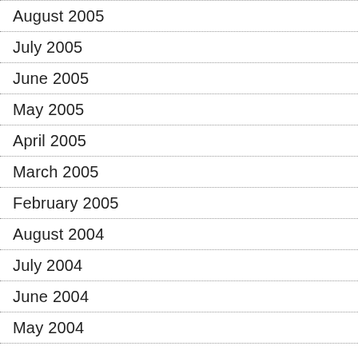August 2005
July 2005
June 2005
May 2005
April 2005
March 2005
February 2005
August 2004
July 2004
June 2004
May 2004